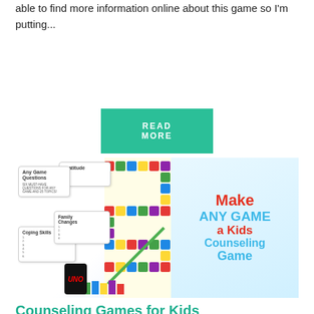able to find more information online about this game so I'm putting...
READ MORE
[Figure (photo): Promotional banner image showing board game cards (Any Game Questions, Gratitude, Coping Skills, Family Changes), a colorful board game, UNO card, and text reading 'Make ANY GAME a Kids Counseling Game']
Counseling Games for Kids